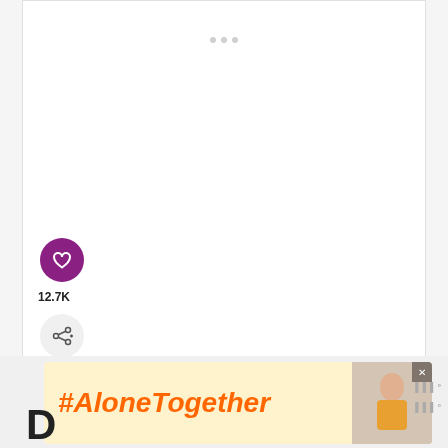[Figure (screenshot): White content area with three small gray dots at the top center, representing a loading or placeholder state for a recipe image.]
[Figure (other): Purple circular heart/like button showing 12.7K likes, and a share button below it on the left side of the content area.]
12.7K
[Figure (other): What's Next bar showing 'WHAT'S NEXT →' label and 'Chicken Piccata with...' title with a circular food thumbnail image.]
WHAT'S NEXT →
Chicken Piccata with...
[Figure (other): #AloneTogether advertisement banner in yellow/orange with a photo of a woman eating and a close button.]
#AloneTogether